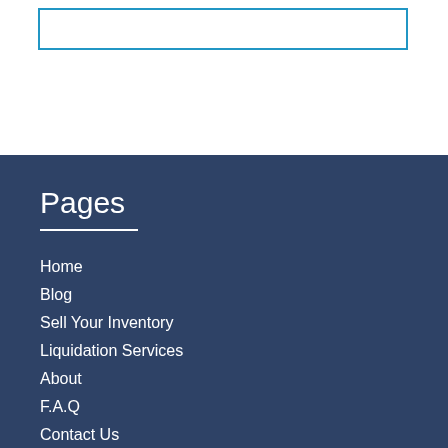[Figure (other): A rectangular box with a blue border on a white background]
Pages
Home
Blog
Sell Your Inventory
Liquidation Services
About
F.A.Q
Contact Us